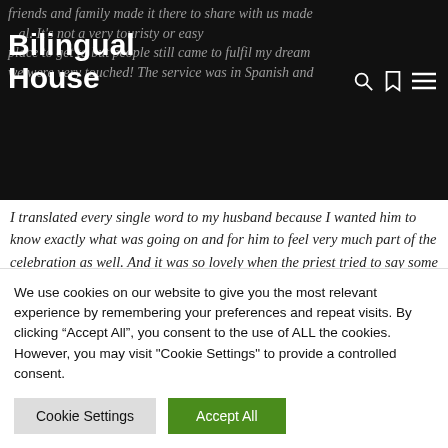Bilingual House
friends and family made it there to share with us made … al. It's not a very touristy or easy place to get to but people still came to fulfil my dream we were very touched! The service was in Spanish and I translated every single word to my husband because I wanted him to know exactly what was going on and for him to feel very much part of the celebration as well. And it was so lovely when the priest tried to say some words in English to make us all feel welcome.
Thank you very much. It's been fascinating to hear about all your experiences with bilingualism. Good…
We use cookies on our website to give you the most relevant experience by remembering your preferences and repeat visits. By clicking "Accept All", you consent to the use of ALL the cookies. However, you may visit "Cookie Settings" to provide a controlled consent.